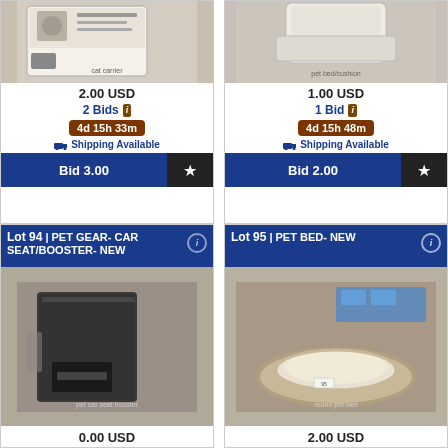[Figure (photo): Pet crate/carrier product in white, partially visible at top]
2.00 USD
2 Bids
4d 15h 33m
Shipping Available
Bid 3.00
[Figure (photo): Orthopedic pet bed/cushion in white, partially visible at top]
1.00 USD
1 Bid
4d 15h 48m
Shipping Available
Bid 2.00
Lot 94 | PET GEAR- CAR SEAT/BOOSTER- NEW
[Figure (photo): Pet car seat/booster in black plastic wrapping]
0.00 USD
Lot 95 | PET BED- NEW
[Figure (photo): Round pet bed in beige/cream color]
2.00 USD